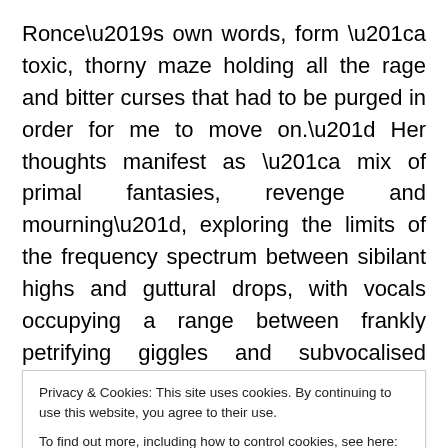Ronce’s own words, form “a toxic, thorny maze holding all the rage and bitter curses that had to be purged in order for me to move on.” Her thoughts manifest as “a mix of primal fantasies, revenge and mourning”, exploring the limits of the frequency spectrum between sibilant highs and guttural drops, with vocals occupying a range between frankly petrifying giggles and subvocalised whispers, to Enfield-haunting croaks and bloodcurdling shrieks, each illuminating structures that shapeshift from liminal, barely-there, to bone-crunching technoid reflux and charged electro-static forcefields. In light of pandemic
Privacy & Cookies: This site uses cookies. By continuing to use this website, you agree to their use. To find out more, including how to control cookies, see here: Cookie Policy
insight and ingenuity that Ronce brings to her work is